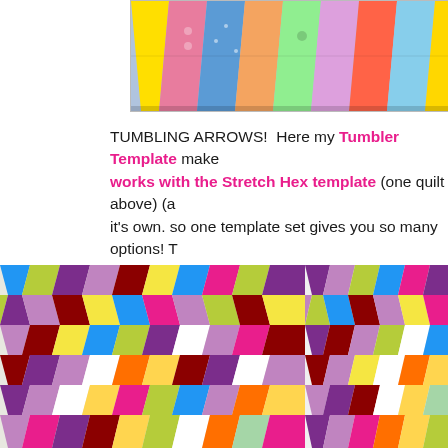[Figure (photo): Top portion of a colorful tumbling arrows patchwork quilt showing triangular fabric pieces in various patterns including yellow, pink, blue, and multicolor fabrics arranged in a geometric pattern.]
TUMBLING ARROWS!  Here my Tumbler Template makes a quilt that also works with the Stretch Hex template (one quilt above) (and also on it's own. so one template set gives you so many options! T
[Figure (photo): Large colorful tumbling arrows quilt showing bold chevron/arrow pattern made with tumblers in purple, magenta, yellow-green, blue, red, white, orange, and floral fabrics arranged in a striking zigzag pattern.]